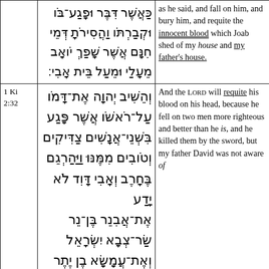| Reference | Hebrew | English |
| --- | --- | --- |
|  | כַּאֲשֶׁר דִּבֶּר וּפָגַע־בֹּו וּקְבַרְתֹּו וַהֲסִירֹתָ דְּמֵי חִנָּם אֲשֶׁר שָׁפַךְ יֹואָב מֵעָלַי וּמֵעַל בֵּית אָבִי׃ | as he said, and fall on him, and bury him, and requite the innocent blood which Joab shed of my house and my father's house. |
| 1 Ki 2:32 | וְהֵשִׁיב יְהוָה אֶת־דָּמֹו עַל־רֹאשֹׁו אֲשֶׁר פָּגַע בִּשְׁנֵי־אֲנָשִׁים צַדִּיקִים וְטֹובִים מִמֶּנּוּ וַיַּהַרְגֵם בֶּחָרֶב וְאָבִי דָּוִד לֹא יָדַע אֶת־אֲבִנֵר בֶּן נֵר שַׂר־צְבָא יִשְׂרָאֵל וְאֶת־עֲמָשָׂא בֶן־יֶתֶר | And the Lord will requite his blood on his head, because he fell on two men more righteous and better than he is, and he killed them by the sword, but my father David was not aware of |